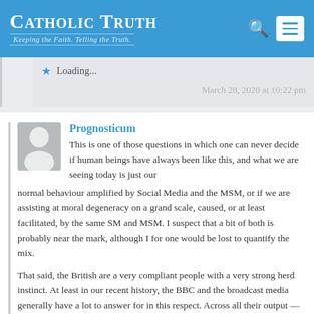Catholic Truth — Keeping the Faith. Telling the Truth.
Loading...
March 28, 2020 at 10:22 pm
Prognosticum
This is one of those questions in which one can never decide if human beings have always been like this, and what we are seeing today is just our normal behaviour amplified by Social Media and the MSM, or if we are assisting at moral degeneracy on a grand scale, caused, or at least facilitated, by the same SM and MSM. I suspect that a bit of both is probably near the mark, although I for one would be lost to quantify the mix.
That said, the British are a very compliant people with a very strong herd instinct. At least in our recent history, the BBC and the broadcast media generally have a lot to answer for in this respect. Across all their output — most obviously in news and